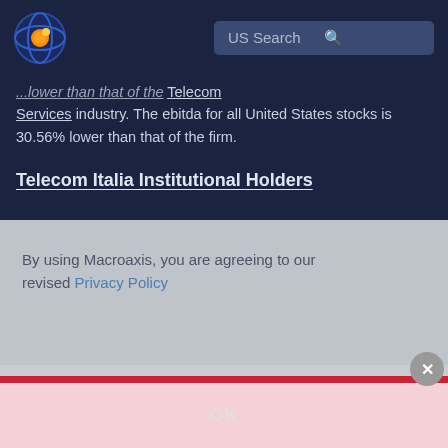US Search
...lower than that of the Telecom Services industry. The ebitda for all United States stocks is 30.56% lower than that of the firm.
Telecom Italia Institutional Holders
[Figure (screenshot): Modal dialog: 'By using Macroaxis, you are agreeing to our revised Privacy Policy' with an OK button and a close (X) button]
By using Macroaxis, you are agreeing to our revised Privacy Policy
OK
higher price than over the stock. Institutional investors that have...price